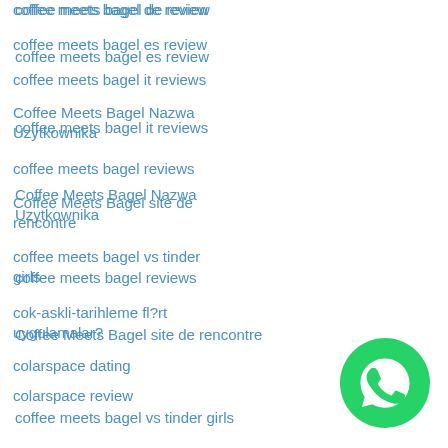coffee meets bagel de review
coffee meets bagel es review
coffee meets bagel it reviews
Coffee Meets Bagel Nazwa Uzytkownika
coffee meets bagel reviews
Coffee Meets Bagel site de rencontre
coffee meets bagel vs tinder girls
cok-askli-tarihleme fl?rt uygulamalar?
colarspace dating
colarspace review
colarspace reviews
collarspace adult dating
collarspace App
[Figure (logo): WhatsApp green circular logo with white phone/chat icon]